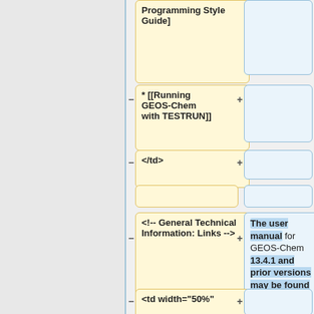[Figure (screenshot): Diff view showing wiki markup changes. Top section shows 'Programming Style Guide]' in yellow box with empty blue box. Second row shows '* [[Running GEOS-Chem with TESTRUN]]' in yellow with empty blue box, minus/plus signs. Third row shows '</td>' yellow with empty blue box. Empty row. Then '<!-- General Technical Information: Links -->' in yellow with full blue box showing 'The user manual for GEOS-Chem 13.4.1 and prior versions may be found \'[[Getting Started with GEOS-Chem|HERE]]\''. Bottom partial row shows '<td width="50%"' in yellow with empty blue box.]